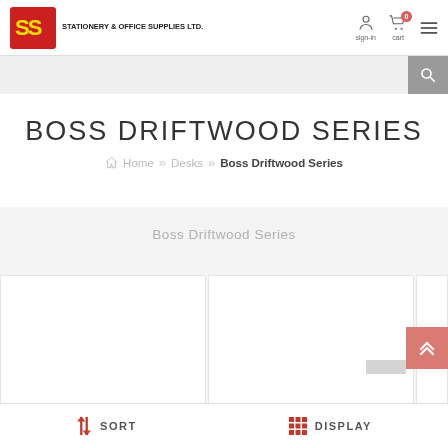Stationery & Office Supplies Ltd. — sign-in, cart (0), menu
BOSS DRIFTWOOD SERIES
Home » Desks » Boss Driftwood Series
Boss Driftwood Series
[Figure (screenshot): Product grid showing Boss Driftwood Series items on a grey background]
SORT   DISPLAY